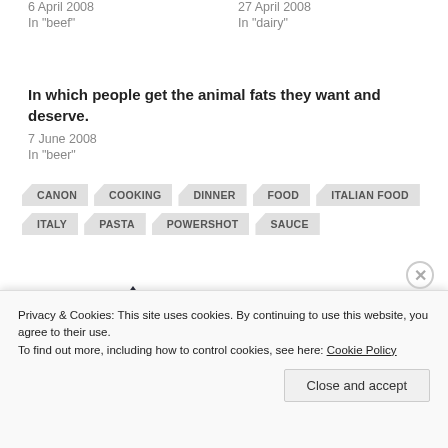6 April 2008
In "beef"
27 April 2008
In "dairy"
In which people get the animal fats they want and deserve.
7 June 2008
In "beer"
CANON
COOKING
DINNER
FOOD
ITALIAN FOOD
ITALY
PASTA
POWERSHOT
SAUCE
Published by Michelle Weber
Privacy & Cookies: This site uses cookies. By continuing to use this website, you agree to their use.
To find out more, including how to control cookies, see here: Cookie Policy
Close and accept